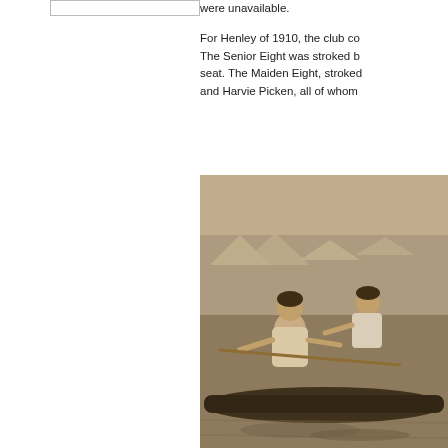[Figure (other): A rectangular outlined box, partially visible at top left of the page]
were unavailable.

For Henley of 1910, the club co... The Senior Eight was stroked b... seat. The Maiden Eight, stroked... and Harvie Picken, all of whom...
[Figure (photo): A sepia/black-and-white photograph showing rowers in a boat on a river, with two men visible rowing, water reflections, and buildings or tents in the background.]